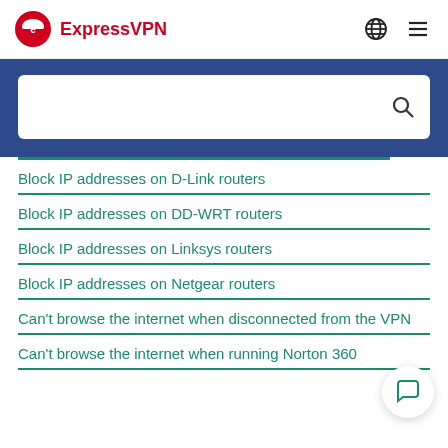ExpressVPN
Block IP addresses on D-Link routers
Block IP addresses on DD-WRT routers
Block IP addresses on Linksys routers
Block IP addresses on Netgear routers
Can't browse the internet when disconnected from the VPN
Can't browse the internet when running Norton 360